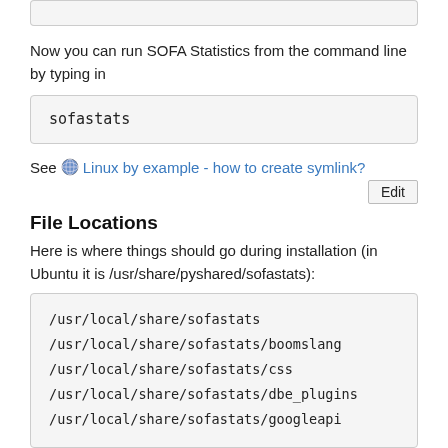Now you can run SOFA Statistics from the command line by typing in
sofastats
See 🌐 Linux by example - how to create symlink?
File Locations
Here is where things should go during installation (in Ubuntu it is /usr/share/pyshared/sofastats):
/usr/local/share/sofastats
/usr/local/share/sofastats/boomslang
/usr/local/share/sofastats/css
/usr/local/share/sofastats/dbe_plugins
/usr/local/share/sofastats/googleapi